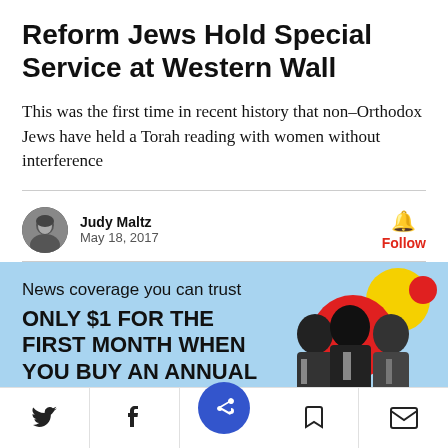Reform Jews Hold Special Service at Western Wall
This was the first time in recent history that non-Orthodox Jews have held a Torah reading with women without interference
Judy Maltz
May 18, 2017
[Figure (infographic): Subscription advertisement banner with text: News coverage you can trust. ONLY $1 FOR THE FIRST MONTH WHEN YOU BUY AN ANNUAL SUBSCRIPTION. Subscribe button. Illustration of three men in suits with colorful circles on blue background.]
[Figure (infographic): Social media bottom navigation bar with Twitter, Facebook, share (blue circle), bookmark, and email icons]